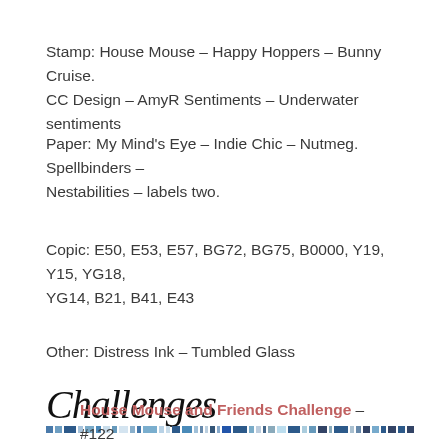Stamp: House Mouse – Happy Hoppers – Bunny Cruise. CC Design – AmyR Sentiments – Underwater sentiments
Paper: My Mind’s Eye – Indie Chic – Nutmeg. Spellbinders – Nestabilities – labels two.
Copic: E50, E53, E57, BG72, BG75, B0000, Y19, Y15, YG18, YG14, B21, B41, E43
Other: Distress Ink – Tumbled Glass
[Figure (logo): Challenges script logo with decorative colored squares banner strip below]
House Mouse and Friends Challenge – #122 Summer refreshments